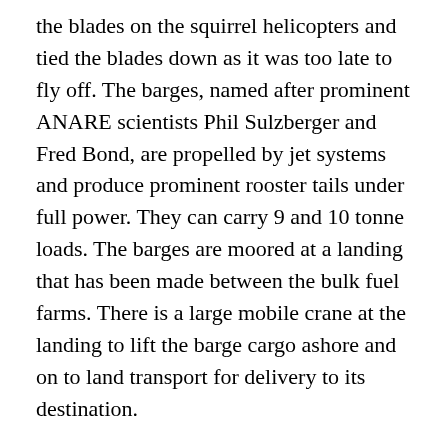the blades on the squirrel helicopters and tied the blades down as it was too late to fly off. The barges, named after prominent ANARE scientists Phil Sulzberger and Fred Bond, are propelled by jet systems and produce prominent rooster tails under full power. They can carry 9 and 10 tonne loads. The barges are moored at a landing that has been made between the bulk fuel farms. There is a large mobile crane at the landing to lift the barge cargo ashore and on to land transport for delivery to its destination.
Dave McCormack had the flexible oil hose out and pressure tested and started pumping the bulk fuel into the very large storage tanks ashore before dark and hopes to finish sometime Sunday. It looks like a lot of the large boulders between the hangar and the fuel farm have been removed